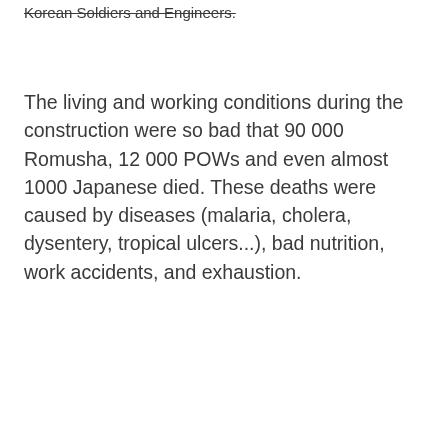Korean Soldiers and Engineers.
The living and working conditions during the construction were so bad that 90 000 Romusha, 12 000 POWs and even almost 1000 Japanese died. These deaths were caused by diseases (malaria, cholera, dysentery, tropical ulcers...), bad nutrition, work accidents, and exhaustion.